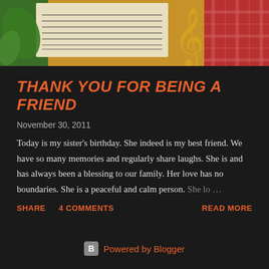[Figure (photo): Header image showing music sheet with treble clef, drumsticks, green leaves, and a plaid fabric on warm orange/brown background]
THANK YOU FOR BEING A FRIEND
November 30, 2011
Today is my sister's birthday. She indeed is my best friend. We have so many memories and regularly share laughs. She is and has always been a blessing to our family. Her love has no boundaries. She is a peaceful and calm person. She lo ...
SHARE   4 COMMENTS   READ MORE
Powered by Blogger